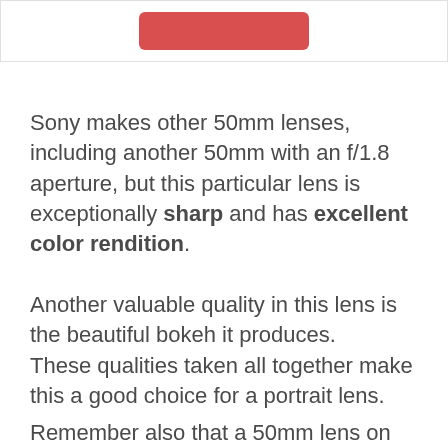[Figure (other): Partial screenshot showing top of a white content card with a red rounded button element visible at top center]
Sony makes other 50mm lenses, including another 50mm with an f/1.8 aperture, but this particular lens is exceptionally sharp and has excellent color rendition.
Another valuable quality in this lens is the beautiful bokeh it produces. These qualities taken all together make this a good choice for a portrait lens.
Remember also that a 50mm lens on the